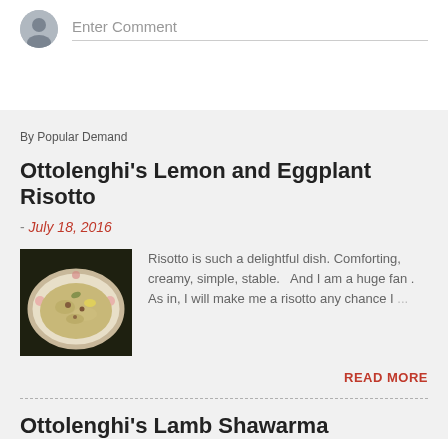Enter Comment
By Popular Demand
Ottolenghi's Lemon and Eggplant Risotto
- July 18, 2016
[Figure (photo): A plate of risotto with lemon and eggplant, served on a floral plate, on a dark background]
Risotto is such a delightful dish. Comforting, creamy, simple, stable.  And I am a huge fan . As in, I will make me a risotto any chance I ...
READ MORE
Ottolenghi's Lamb Shawarma